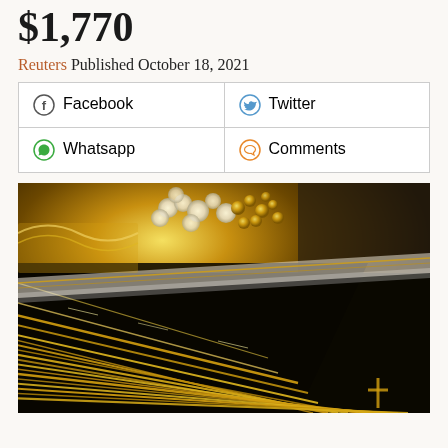$1,770
Reuters Published October 18, 2021
| Facebook | Twitter |
| Whatsapp | Comments |
[Figure (photo): Close-up photograph of gold jewelry chains and necklaces displayed on dark black velvet fabric, with pearl and gold bead decorations in the background]